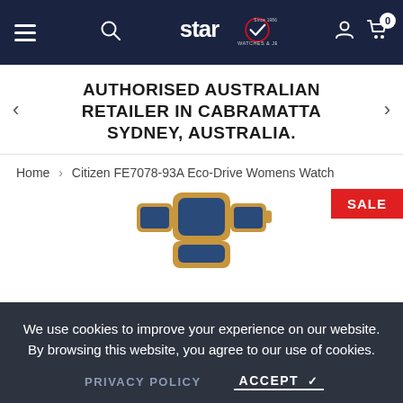Star Watches & Jewellery navigation bar with hamburger menu, search, logo, user icon, and cart (0)
AUTHORISED AUSTRALIAN RETAILER IN CABRAMATTA SYDNEY, AUSTRALIA.
Home > Citizen FE7078-93A Eco-Drive Womens Watch
[Figure (photo): Partial view of a Citizen women's watch with gold and blue bracelet/case, with a SALE badge in the top right corner. The Citizen brand name appears as a watermark at the bottom.]
We use cookies to improve your experience on our website. By browsing this website, you agree to our use of cookies.
PRIVACY POLICY   ACCEPT ✓